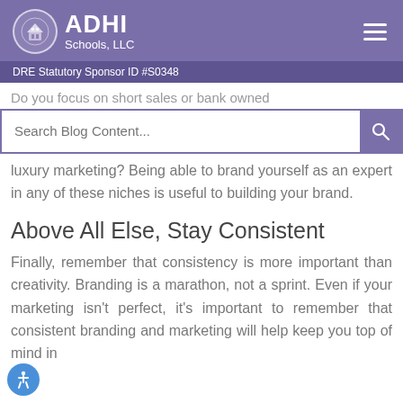ADHI Schools, LLC — DRE Statutory Sponsor ID #S0348
Do you focus on short sales or bank owned luxury marketing? Being able to brand yourself as an expert in any of these niches is useful to building your brand.
Above All Else, Stay Consistent
Finally, remember that consistency is more important than creativity. Branding is a marathon, not a sprint. Even if your marketing isn't perfect, it's important to remember that consistent branding and marketing will help keep you top of mind in